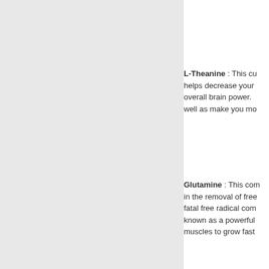L-Theanine : This cu helps decrease your overall brain power. well as make you mo
Glutamine : This com in the removal of free fatal free radical com known as a powerful muscles to grow fast
L-Ascorbic Acid : Thi cutting steroids for h formation of your car having its own uniqu